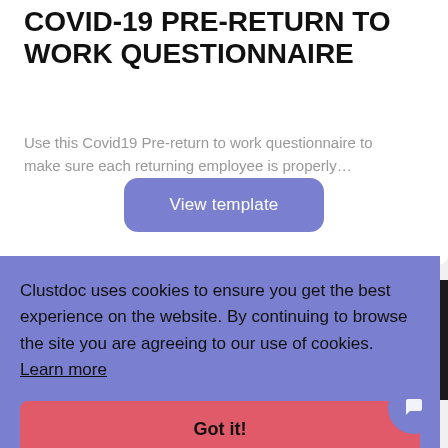COVID-19 PRE-RETURN TO WORK QUESTIONNAIRE
Use this Covid19 Pre-return to work questionnaire to make sure each returning employee is properly…
View template
Clustdoc uses cookies to ensure you get the best experience on the website. By continuing to browse the site you are agreeing to our use of cookies. Learn more
Got it!